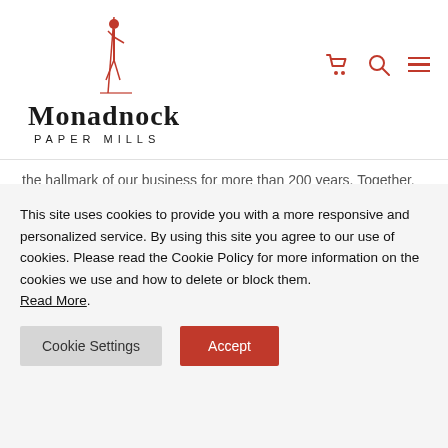[Figure (logo): Monadnock Paper Mills logo with red archer figure and text 'Monadnock PAPER MILLS']
the hallmark of our business for more than 200 years. Together, we will get through this.
Thank you for your continued support and flexibility. Please do not hesitate to reach out to us at any time if you have any concerns.
This site uses cookies to provide you with a more responsive and personalized service. By using this site you agree to our use of cookies. Please read the Cookie Policy for more information on the cookies we use and how to delete or block them. Read More.
Cookie Settings  Accept